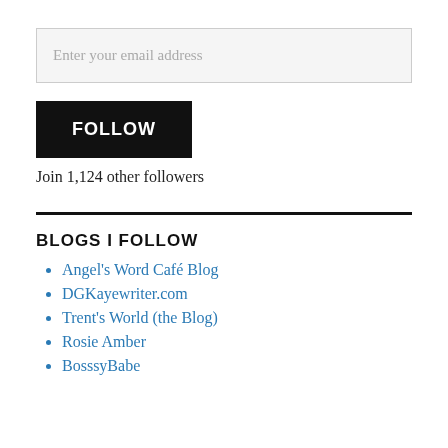Enter your email address
FOLLOW
Join 1,124 other followers
BLOGS I FOLLOW
Angel's Word Café Blog
DGKayewriter.com
Trent's World (the Blog)
Rosie Amber
BosssyBabe